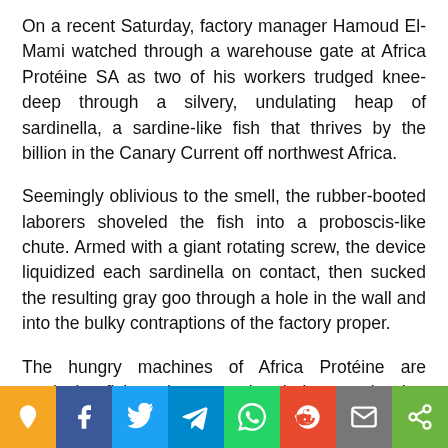On a recent Saturday, factory manager Hamoud El-Mami watched through a warehouse gate at Africa Protéine SA as two of his workers trudged knee-deep through a silvery, undulating heap of sardinella, a sardine-like fish that thrives by the billion in the Canary Current off northwest Africa.
Seemingly oblivious to the smell, the rubber-booted laborers shoveled the fish into a proboscis-like chute. Armed with a giant rotating screw, the device liquidized each sardinella on contact, then sucked the resulting gray goo through a hole in the wall and into the bulky contraptions of the factory proper.
The hungry machines of Africa Protéine are producing fishmeal — a nutrient-laden powder that fuels the $160 billi... est-gro... ing